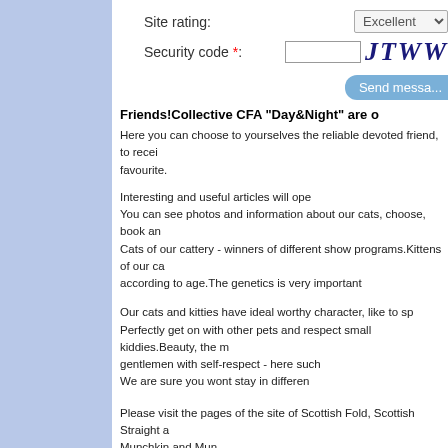Site rating:
Security code *:
JTWW (captcha image)
Send messa...
Friends!Collective CFA "Day&Night" are o
Here you can choose to yourselves the reliable devoted friend, to recei favourite.
Interesting and useful articles will ope
You can see photos and information about our cats, choose, book an
Cats of our cattery - winners of different show programs.Kittens of our ca according to age.The genetics is very important
Our cats and kitties have ideal worthy character, like to sp Perfectly get on with other pets and respect small kiddies.Beauty, the m gentlemen with self-respect - here such We are sure you wont stay in differen
Please visit the pages of the site of Scottish Fold, Scottish Straight a Munchkin and Mun
If you are looking for a cute exclusive kitten for breedi
On page of kit